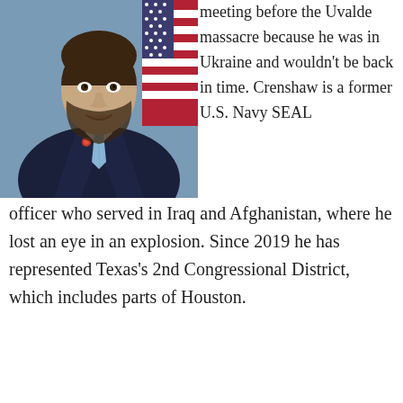[Figure (photo): Official portrait photo of a man in a dark suit with a light blue tie, standing in front of an American flag against a blue background. He has a beard and is smiling.]
meeting before the Uvalde massacre because he was in Ukraine and wouldn't be back in time. Crenshaw is a former U.S. Navy SEAL officer who served in Iraq and Afghanistan, where he lost an eye in an explosion. Since 2019 he has represented Texas's 2nd Congressional District, which includes parts of Houston.